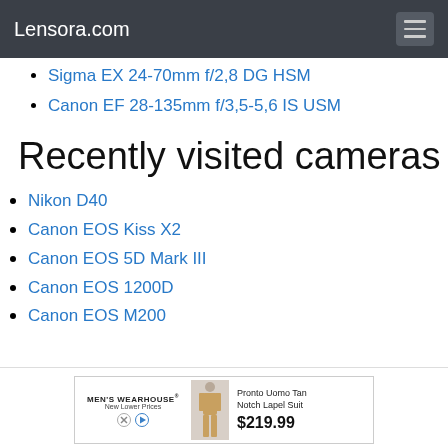Lensora.com
Sigma EX 24-70mm f/2,8 DG HSM
Canon EF 28-135mm f/3,5-5,6 IS USM
Recently visited cameras
Nikon D40
Canon EOS Kiss X2
Canon EOS 5D Mark III
Canon EOS 1200D
Canon EOS M200
[Figure (advertisement): Men's Wearhouse ad showing Pronto Uomo Tan Notch Lapel Suit for $219.99]